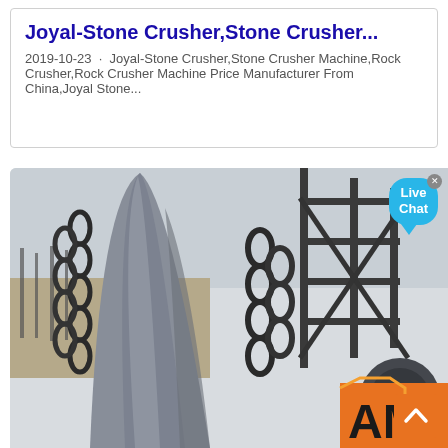Joyal-Stone Crusher,Stone Crusher...
2019-10-23 · Joyal-Stone Crusher,Stone Crusher Machine,Rock Crusher,Rock Crusher Machine Price Manufacturer From China,Joyal Stone...
[Figure (photo): Close-up photograph of heavy industrial stone crusher machinery, showing a large metal cone/mantle with chains and metal framework visible. Industrial facility visible in background. Partially visible orange and black logo at bottom right ('AM' letters).]